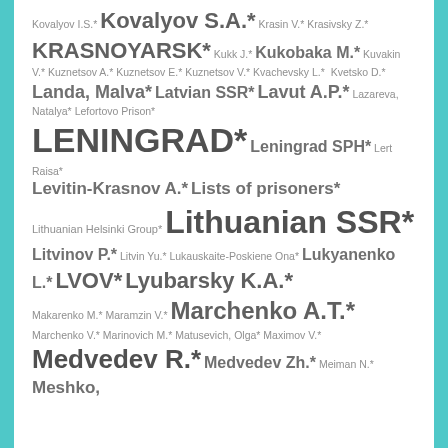Kovalyov I.S.* Kovalyov S.A.* Krasin V.* Krasivsky Z.* KRASNOYARSK* Kukk J.* Kukobaka M.* Kuvakin V.* Kuznetsov A.* Kuznetsov E.* Kuznetsov V.* Kvachevsky L.* Kvetsko D.* Landa, Malva* Latvian SSR* Lavut A.P.* Lazareva, Natalya* Lefortovo Prison* LENINGRAD* Leningrad SPH* Lert Raisa* Levitin-Krasnov A.* Lists of prisoners* Lithuanian Helsinki Group* Lithuanian SSR* Litvinov P.* Litvin Yu.* Lukauskaite-Poskiene Ona* Lukyanenko L.* LVOV* Lyubarsky K.A.* Makarenko M.* Maramzin V.* Marchenko A.T.* Marchenko V.* Marinovich M.* Matusevich, Olga* Maximov V.* Medvedev R.* Medvedev Zh.* Meiman N.* Meshko,